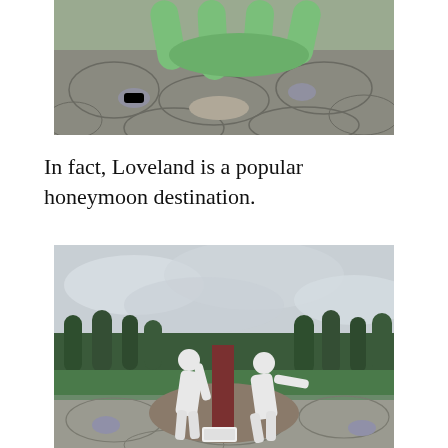[Figure (photo): Outdoor stone patio with green sculptural elements in the foreground and small grey dome shapes on the ground, at Loveland park.]
In fact, Loveland is a popular honeymoon destination.
[Figure (photo): Two white human statues positioned on either side of a dark red rectangular pillar in a garden setting with trees and hedges in the background, at Loveland park.]